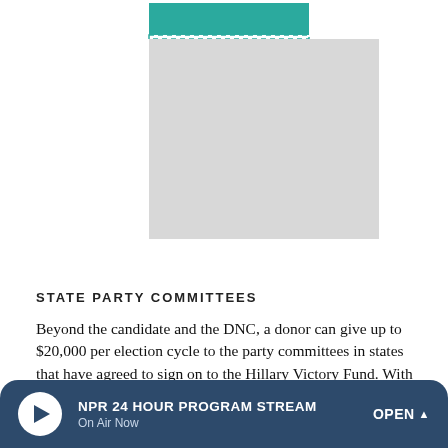[Figure (other): Partial bar chart graphic, teal and gray bars, top of page (cropped)]
STATE PARTY COMMITTEES
Beyond the candidate and the DNC, a donor can give up to $20,000 per election cycle to the party committees in states that have agreed to sign on to the Hillary Victory Fund. With 32 eligible states and Puerto Rico, the state party committee limits total $660,000.
By maxing out each of these limits, a single donor can effectively contribute $732,200 per election cycle — that's 135 times the individual candidate limit.
[Figure (bar-chart): Bottom partial bar chart with $660,000 label, teal bars (cropped)]
NPR 24 HOUR PROGRAM STREAM On Air Now OPEN